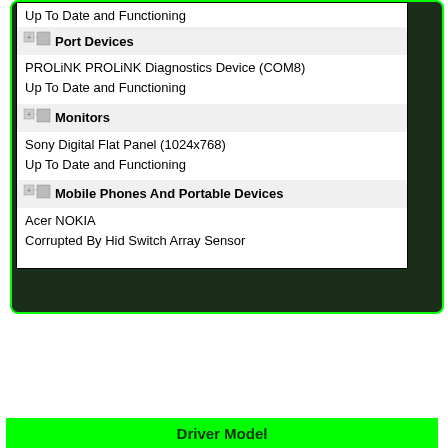Up To Date and Functioning
Port Devices
PROLiNK PROLiNK Diagnostics Device (COM8)
Up To Date and Functioning
Monitors
Sony Digital Flat Panel (1024x768)
Up To Date and Functioning
Mobile Phones And Portable Devices
Acer NOKIA
Corrupted By Hid Switch Array Sensor
Driver Model